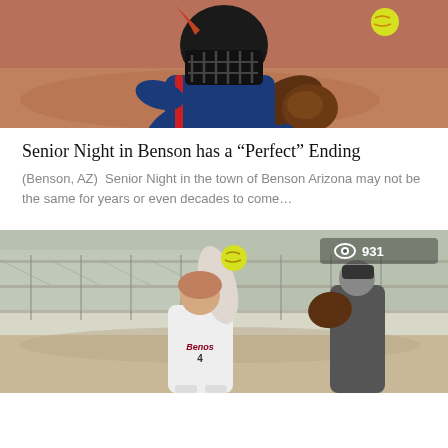[Figure (photo): Softball catcher in blue jersey and black helmet/mask crouching to receive a pitch, yellow softball visible in upper right, red dirt background]
Senior Night in Benson has a “Perfect” Ending
(Benson, AZ)  Senior Night in the town of Benson Arizona may not be the same for years or even decades to come…
[Figure (photo): Softball pitcher in white Benson jersey winding up to throw a yellow softball, umpire/catcher visible in background behind chain-link fence, view count badge showing 931]